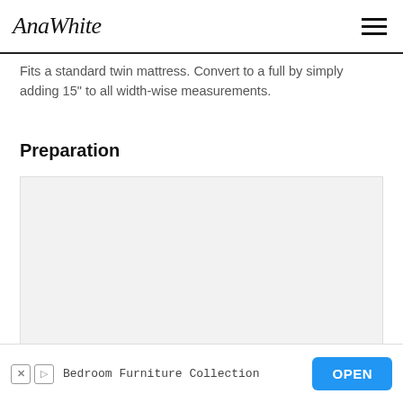AnaWhite
Fits a standard twin mattress. Convert to a full by simply adding 15" to all width-wise measurements.
Preparation
[Figure (other): Gray placeholder box for preparation image or content]
Bedroom Furniture Collection  OPEN